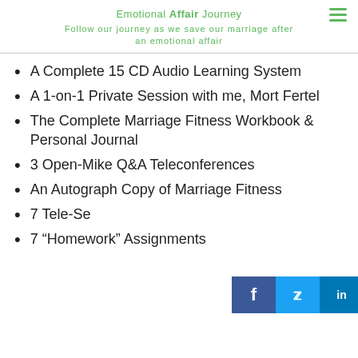Emotional Affair Journey
Follow our journey as we save our marriage after an emotional affair
A Complete 15 CD Audio Learning System
A 1-on-1 Private Session with me, Mort Fertel
The Complete Marriage Fitness Workbook & Personal Journal
3 Open-Mike Q&A Teleconferences
An Autograph Copy of Marriage Fitness
7 Tele-Se[ssions]
7 “Homework” Assignments